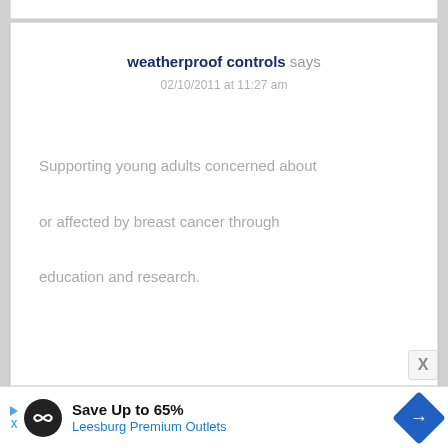weatherproof controls says
02/10/2011 at 11:27 am
Supporting young adults concerned about or affected by breast cancer through education and research.
Save Up to 65% Leesburg Premium Outlets